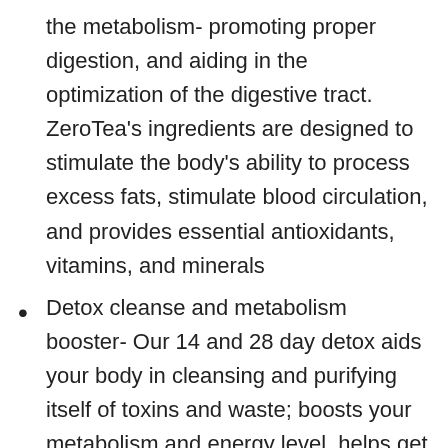the metabolism- promoting proper digestion, and aiding in the optimization of the digestive tract. ZeroTea's ingredients are designed to stimulate the body's ability to process excess fats, stimulate blood circulation, and provides essential antioxidants, vitamins, and minerals
Detox cleanse and metabolism booster- Our 14 and 28 day detox aids your body in cleansing and purifying itself of toxins and waste; boosts your metabolism and energy level, helps get rid of excess water,